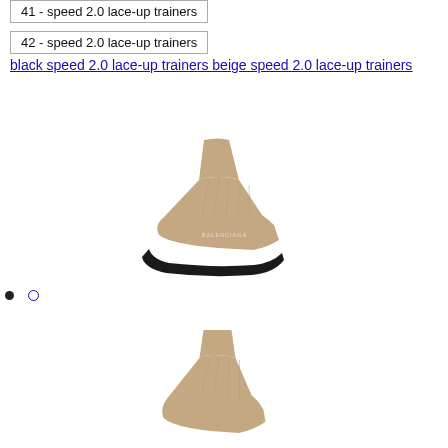41 - speed 2.0 lace-up trainers
42 - speed 2.0 lace-up trainers
black speed 2.0 lace-up trainers beige speed 2.0 lace-up trainers
[Figure (photo): Beige/tan Balenciaga Speed 2.0 lace-up trainer sneaker with white midsole and black outsole, shown from the side]
[Figure (photo): Beige/tan Balenciaga Speed 2.0 lace-up trainer sneaker, partial view from below showing the knit upper]
• (filled dot)
○ (outline dot)